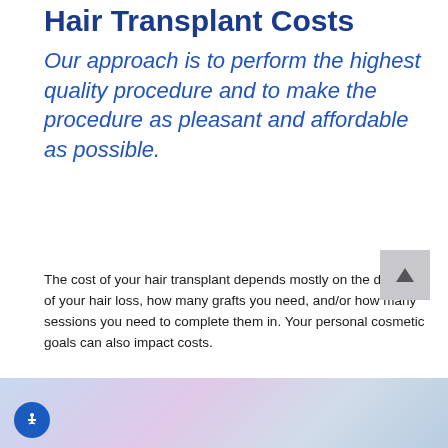Hair Transplant Costs
Our approach is to perform the highest quality procedure and to make the procedure as pleasant and affordable as possible.
The cost of your hair transplant depends mostly on the degree of your hair loss, how many grafts you need, and/or how many sessions you need to complete them in. Your personal cosmetic goals can also impact costs.